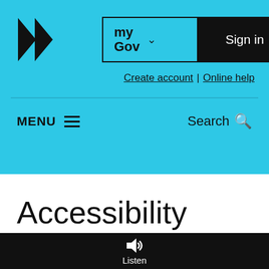[Figure (logo): myGov website header with logo (two forward arrow shapes), myGov dropdown button, Sign in button, Create account and Online help links, MENU and Search navigation bar]
Accessibility
We want to make sure everyone can get information about our payments and
[Figure (other): Listen button with speaker icon at bottom of screen]